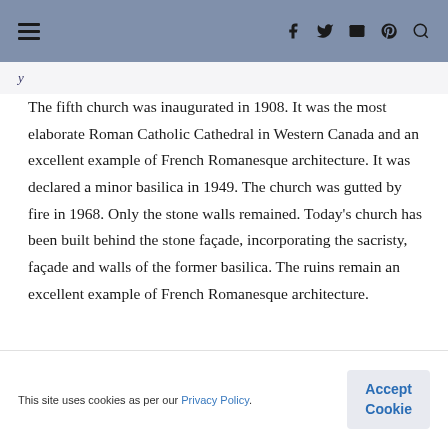≡  f  twitter  mail  pinterest  search
The fifth church was inaugurated in 1908. It was the most elaborate Roman Catholic Cathedral in Western Canada and an excellent example of French Romanesque architecture. It was declared a minor basilica in 1949. The church was gutted by fire in 1968. Only the stone walls remained. Today's church has been built behind the stone façade, incorporating the sacristy, façade and walls of the former basilica. The ruins remain an excellent example of French Romanesque architecture.
This site uses cookies as per our Privacy Policy.